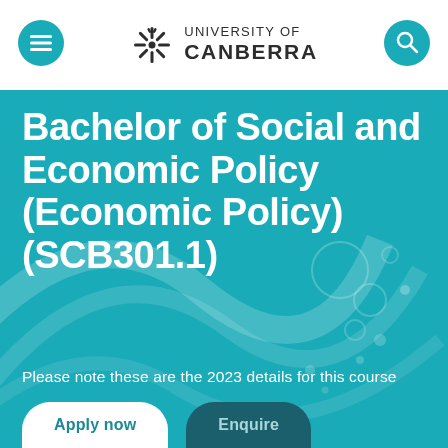University of Canberra
Bachelor of Social and Economic Policy (Economic Policy) (SCB301.1)
Please note these are the 2023 details for this course
Apply now   Enquire